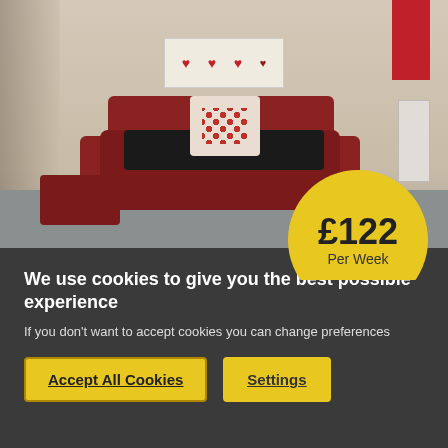[Figure (photo): Interior photo of a living room with red leather sofa, matching ottoman, decorative heart wall art, red window blind, radiator, and grey carpet floor. A yellow circular price badge shows £122 Per Week.]
We use cookies to give you the best possible experience
If you don't want to accept cookies you can change preferences
Accept All Cookies
Settings